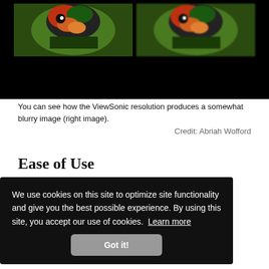[Figure (photo): Two side-by-side comparison images of a colorful bird (parrot/lorikeet), showing resolution difference. Left image is sharper, right image is blurrier (ViewSonic). Images are set against a black background.]
You can see how the ViewSonic resolution produces a somewhat blurry image (right image).
Credit: Abriah Wofford
Ease of Use
Between the limited foot adjustment and unintuitive menu selection, the PA503W does not go down in history as one of
We use cookies on this site to optimize site functionality and give you the best possible experience. By using this site, you accept our use of cookies. Learn more
Got it!